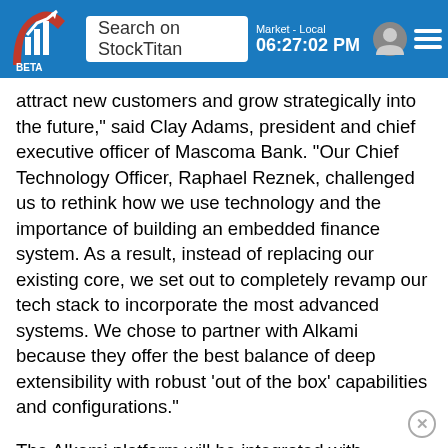[Figure (screenshot): StockTitan app header bar with logo, search field showing 'Search on StockTitan', market time '06:27:02 PM', user icon, and menu icon]
attract new customers and grow strategically into the future," said Clay Adams, president and chief executive officer of Mascoma Bank. "Our Chief Technology Officer, Raphael Reznek, challenged us to rethink how we use technology and the importance of building an embedded finance system. As a result, instead of replacing our existing core, we set out to completely revamp our tech stack to incorporate the most advanced systems. We chose to partner with Alkami because they offer the best balance of deep extensibility with robust 'out of the box' capabilities and configurations."
The Alkami platform will be integrated with Thought Machine's core banking platform, Vault, to provide a complete cloud-based banking platform that is capable of being easily configured and scaled. Mascoma will be able to get to market quickly and have the ability to customize based on the bank's